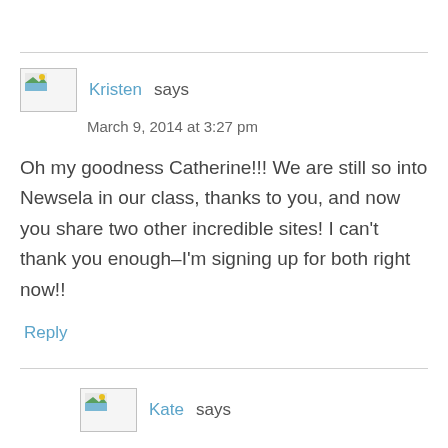Kristen says
March 9, 2014 at 3:27 pm
Oh my goodness Catherine!!! We are still so into Newsela in our class, thanks to you, and now you share two other incredible sites! I can't thank you enough–I'm signing up for both right now!!
Reply
Kate says